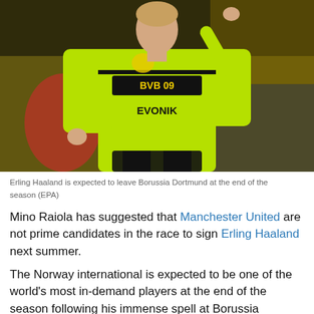[Figure (photo): Erling Haaland in a yellow-green Borussia Dortmund BVB 09 Evonik jersey, pointing with his right hand on the pitch.]
Erling Haaland is expected to leave Borussia Dortmund at the end of the season (EPA)
Mino Raiola has suggested that Manchester United are not prime candidates in the race to sign Erling Haaland next summer.
The Norway international is expected to be one of the world’s most in-demand players at the end of the season following his immense spell at Borussia Dortmund.